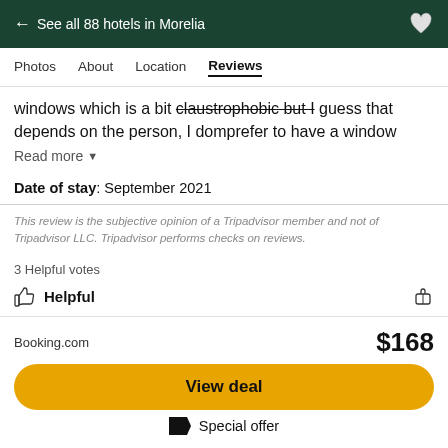← See all 88 hotels in Morelia
Photos    About    Location    Reviews
windows which is a bit claustrophobic but I guess that depends on the person, I domprefer to have a window
Read more ▼
Date of stay: September 2021
This review is the subjective opinion of a Tripadvisor member and not of Tripadvisor LLC. Tripadvisor performs checks on reviews.
3 Helpful votes
Helpful
Booking.com   $168
View deal
Special offer